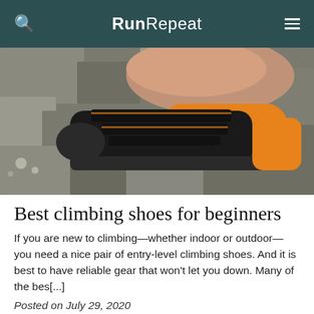RunRepeat
[Figure (photo): Close-up photo of a Scarpa climbing shoe on a rock surface. The shoe is black and orange.]
Best climbing shoes for beginners
If you are new to climbing—whether indoor or outdoor—you need a nice pair of entry-level climbing shoes. And it is best to have reliable gear that won't let you down. Many of the bes[...]
Posted on July 29, 2020
[Figure (photo): Partial photo of another climbing shoe article, partially visible at bottom of page.]